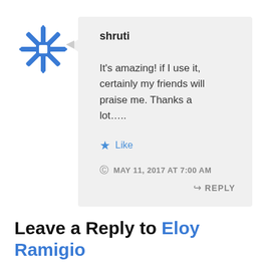[Figure (illustration): Blue snowflake/mandala style avatar icon]
shruti
It's amazing! if I use it, certainly my friends will praise me. Thanks a lot…..
Like
MAY 11, 2017 AT 7:00 AM
REPLY
Leave a Reply to Eloy Ramigio